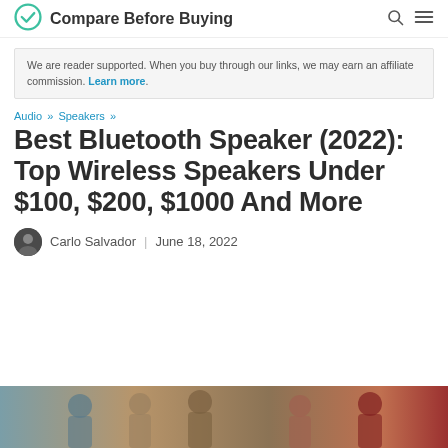Compare Before Buying
We are reader supported. When you buy through our links, we may earn an affiliate commission. Learn more.
Audio » Speakers »
Best Bluetooth Speaker (2022): Top Wireless Speakers Under $100, $200, $1000 And More
Carlo Salvador | June 18, 2022
[Figure (photo): Hero image showing people outdoors, likely using a Bluetooth speaker]